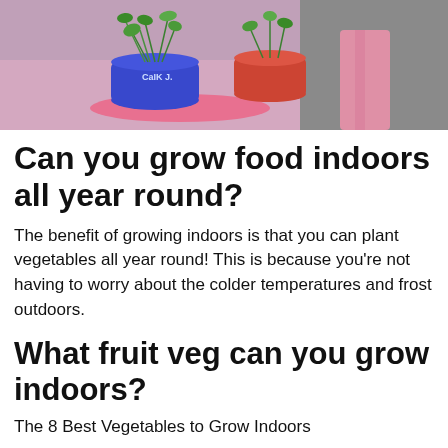[Figure (photo): Colorful plant pots with green sprouts/microgreens on a pink/purple surface, one blue pot labeled 'Chalk' and a red/orange pot]
Can you grow food indoors all year round?
The benefit of growing indoors is that you can plant vegetables all year round! This is because you’re not having to worry about the colder temperatures and frost outdoors.
What fruit veg can you grow indoors?
The 8 Best Vegetables to Grow Indoors
Scallions. Getty Images. ...
Radishes. Getty Images.